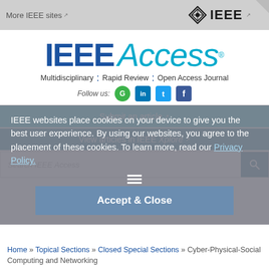More IEEE sites  [external link]   IEEE [logo]
[Figure (logo): IEEE Access logo — 'IEEE' in bold dark blue, 'Access' in light blue italic with registered trademark symbol, subtitle: Multidisciplinary · Rapid Review · Open Access Journal]
Follow us:
IEEE websites place cookies on your device to give you the best user experience. By using our websites, you agree to the placement of these cookies. To learn more, read our Privacy Policy.
Accept & Close
Submit an article [external link]
View articles in IEEE Xplore [external link]
Search IEEE Access
Home » Topical Sections » Closed Special Sections » Cyber-Physical-Social Computing and Networking